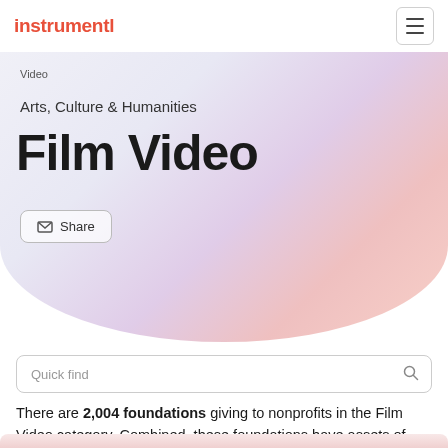instrumentl
Video
Arts, Culture & Humanities
Film Video
Share
Quick find
There are 2,004 foundations giving to nonprofits in the Film Video category. Combined, these foundations have assets of $487 Billion.